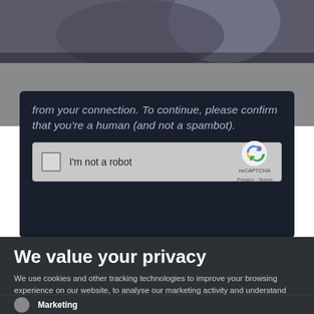[Figure (photo): Dark photo of hands in background, partially visible at top of page]
from your connection. To continue, please confirm that youâ€™re a human (and not a spambot).
[Figure (screenshot): reCAPTCHA widget with checkbox labeled 'I'm not a robot' and reCAPTCHA logo with Privacy and Terms links]
We value your privacy
We use cookies and other tracking technologies to improve your browsing experience on our website, to analyse our marketing activity and understand where our visitors are coming from. Please chose your preferences below. To learn more, please read our privacy policy.
Marketing